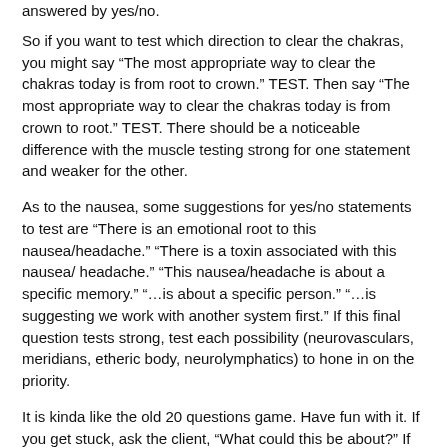answered by yes/no.
So if you want to test which direction to clear the chakras, you might say “The most appropriate way to clear the chakras today is from root to crown.” TEST. Then say “The most appropriate way to clear the chakras today is from crown to root.” TEST. There should be a noticeable difference with the muscle testing strong for one statement and weaker for the other.
As to the nausea, some suggestions for yes/no statements to test are “There is an emotional root to this nausea/headache.” “There is a toxin associated with this nausea/ headache.” “This nausea/headache is about a specific memory.” “…is about a specific person.” “…is suggesting we work with another system first.” If this final question tests strong, test each possibility (neurovasculars, meridians, etheric body, neurolymphatics) to hone in on the priority.
It is kinda like the old 20 questions game. Have fun with it. If you get stuck, ask the client, “What could this be about?” If there are any clues–TEST!
04-10. Fibromyalgia – Response 10